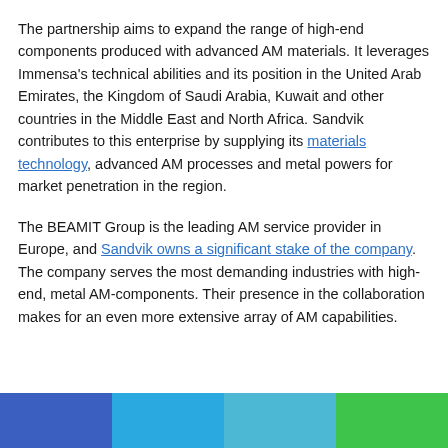The partnership aims to expand the range of high-end components produced with advanced AM materials. It leverages Immensa's technical abilities and its position in the United Arab Emirates, the Kingdom of Saudi Arabia, Kuwait and other countries in the Middle East and North Africa. Sandvik contributes to this enterprise by supplying its materials technology, advanced AM processes and metal powers for market penetration in the region.
The BEAMIT Group is the leading AM service provider in Europe, and Sandvik owns a significant stake of the company. The company serves the most demanding industries with high-end, metal AM-components. Their presence in the collaboration makes for an even more extensive array of AM capabilities.
[Figure (infographic): Four-color horizontal bar at the bottom of the page: blue, light blue, teal/cyan, and green segments of equal width.]